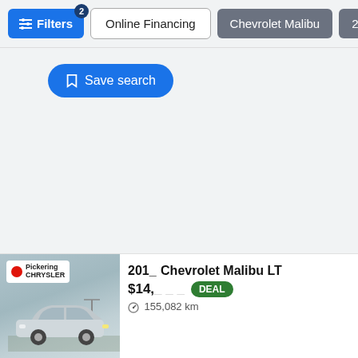Filters (2 active) | Online Financing | Chevrolet Malibu | 2015
[Figure (screenshot): Car listing screenshot showing a white Chevrolet Malibu at Pickering Chrysler dealership]
201_ Chevrolet Malibu LT
$14,_ _ _  DEAL
155,082 km
Save search